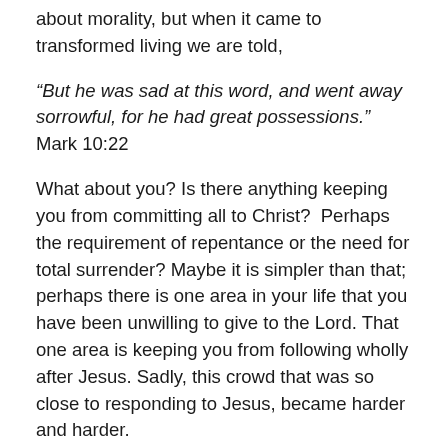about morality, but when it came to transformed living we are told,
“But he was sad at this word, and went away sorrowful, for he had great possessions.” Mark 10:22
What about you? Is there anything keeping you from committing all to Christ?  Perhaps the requirement of repentance or the need for total surrender? Maybe it is simpler than that; perhaps there is one area in your life that you have been unwilling to give to the Lord. That one area is keeping you from following wholly after Jesus. Sadly, this crowd that was so close to responding to Jesus, became harder and harder.
If there is an “until” in your life, surrender now, at the feet of Jesus, and begin to experience the divine exchange.